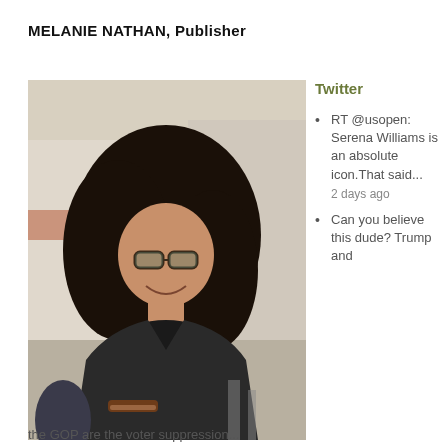MELANIE NATHAN, Publisher
[Figure (photo): Portrait photograph of Melanie Nathan, a woman with long curly dark hair and glasses wearing a black jacket, seated outdoors at a cafe setting]
Twitter
RT @usopen: Serena Williams is an absolute icon.That said... 2 days ago
Can you believe this dude? Trump and the GOP are the voter suppression...